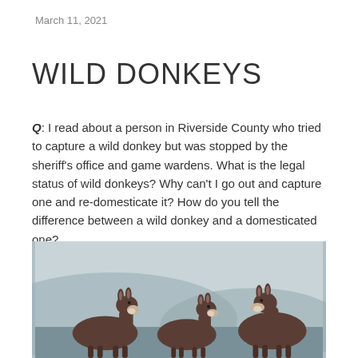March 11, 2021
WILD DONKEYS
Q: I read about a person in Riverside County who tried to capture a wild donkey but was stopped by the sheriff’s office and game wardens. What is the legal status of wild donkeys? Why can’t I go out and capture one and re-domesticate it? How do you tell the difference between a wild donkey and a domesticated one?
[Figure (photo): Three dark brown donkeys standing together facing the camera with a misty hilly background]